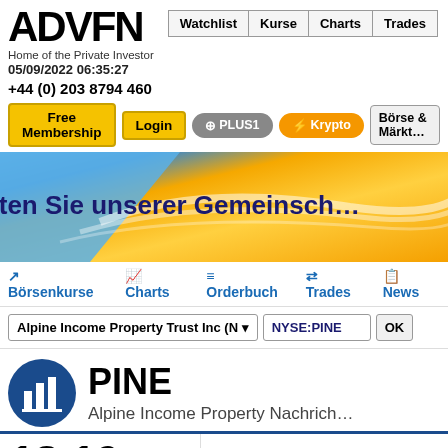[Figure (screenshot): ADVFN logo — bold black letters 'ADVFN']
Home of the Private Investor
05/09/2022 06:35:27
Watchlist   Kurse   Charts   Trades
+44 (0) 203 8794 460
Free Membership   Login   PLUS1   Krypto   Börse & Märkt…
[Figure (illustration): Banner ad with blue and gold gradient: 'Treten Sie unserer Gemeinsch…']
Treten Sie unserer Gemeinsch…
Börsenkurse   Charts   Orderbuch   Trades   News
Alpine Income Property Trust Inc (N ▾   NYSE:PINE   OK
PINE
Alpine Income Property Nachrich…
18 19
Alpine Income Property (NYSE:PINE) Intraday Stock Chart